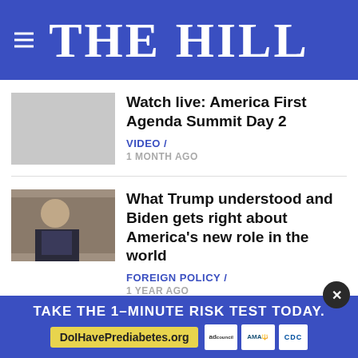THE HILL
Watch live: America First Agenda Summit Day 2
VIDEO / 1 MONTH AGO
What Trump understood and Biden gets right about America's new role in the world
FOREIGN POLICY / 1 YEAR AGO
California venue cancels Ga...
TAKE THE 1-MINUTE RISK TEST TODAY. DoIHavePrediabetes.org